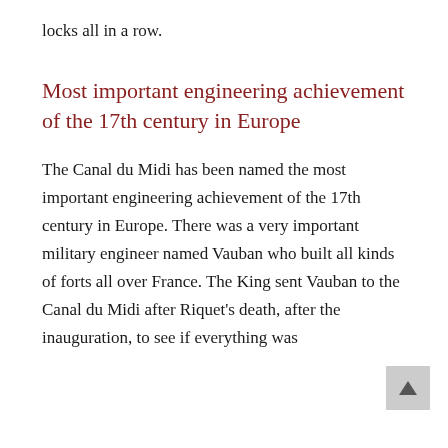locks all in a row.
Most important engineering achievement of the 17th century in Europe
The Canal du Midi has been named the most important engineering achievement of the 17th century in Europe. There was a very important military engineer named Vauban who built all kinds of forts all over France. The King sent Vauban to the Canal du Midi after Riquet's death, after the inauguration, to see if everything was